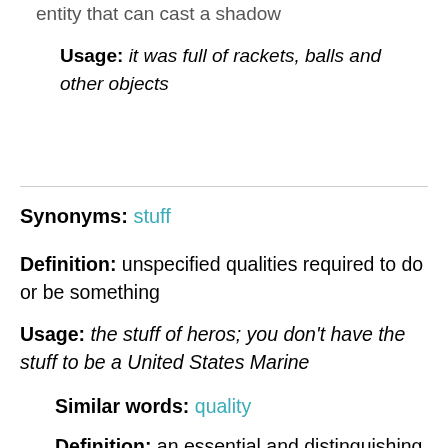entity that can cast a shadow
Usage: it was full of rackets, balls and other objects
Synonyms: stuff
Definition: unspecified qualities required to do or be something
Usage: the stuff of heros; you don't have the stuff to be a United States Marine
Similar words: quality
Definition: an essential and distinguishing attribute of something or someone
Usage: the quality of mercy is not strained--